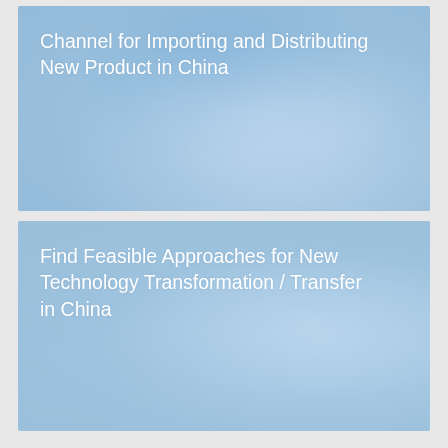[Figure (photo): Medical professional's hands holding capsules/pills with blue scientific overlay, representing pharmaceutical import and distribution in China]
Channel for Importing and Distributing New Product in China
[Figure (photo): Scientific/chemistry background with molecular diagrams, laboratory equipment including a brush/pen, representing technology transformation and transfer in China]
Find Feasible Approaches for New Technology Transformation / Transfer in China